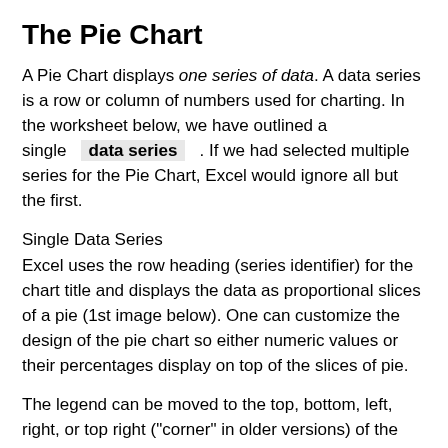The Pie Chart
A Pie Chart displays one series of data. A data series is a row or column of numbers used for charting. In the worksheet below, we have outlined a single data series . If we had selected multiple series for the Pie Chart, Excel would ignore all but the first.
Single Data Series
Excel uses the row heading (series identifier) for the chart title and displays the data as proportional slices of a pie (1st image below). One can customize the design of the pie chart so either numeric values or their percentages display on top of the slices of pie.
The legend can be moved to the top, bottom, left, right, or top right ("corner" in older versions) of the chart. Legend names can be changed by changing the column headings in the sheet or editing the chart directly in new Excel versions.